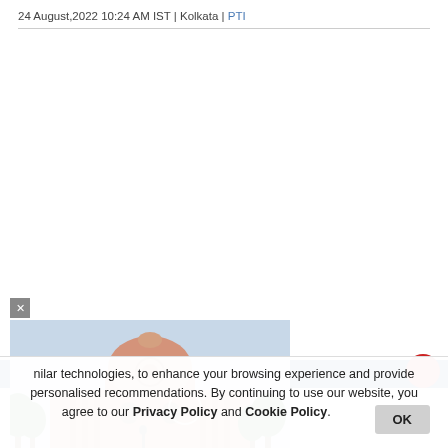24 August,2022 10:24 AM IST | Kolkata | PTI
[Figure (photo): Photograph of the Supreme Court of India building with its iconic dome, red sandstone facade, and surrounding trees]
nilar technologies, to enhance your browsing experience and provide personalised recommendations. By continuing to use our website, you agree to our Privacy Policy and Cookie Policy.